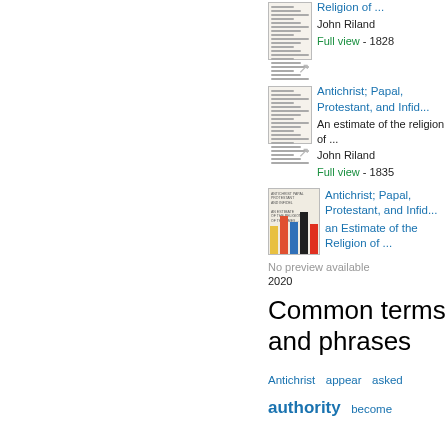[Figure (other): Book thumbnail with page lines illustration]
Religion of ...
John Riland
Full view - 1828
[Figure (other): Book thumbnail with page lines illustration]
Antichrist; Papal, Protestant, and Infid...
An estimate of the religion of ...
John Riland
Full view - 1835
[Figure (other): Book cover with colored bars illustration]
Antichrist; Papal, Protestant, and Infid...
an Estimate of the Religion of ...
No preview available
2020
Common terms and phrases
Antichrist  appear  asked
authority  become